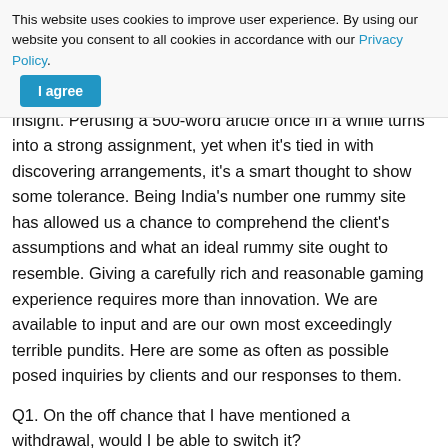This website uses cookies to improve user experience. By using our website you consent to all cookies in accordance with our Privacy Policy. I agree
Withdrawals are a vital piece of a rummy player's general insight. Perusing a 500-word article once in a while turns into a strong assignment, yet when it's tied in with discovering arrangements, it's a smart thought to show some tolerance. Being India's number one rummy site has allowed us a chance to comprehend the client's assumptions and what an ideal rummy site ought to resemble. Giving a carefully rich and reasonable gaming experience requires more than innovation. We are available to input and are our own most exceedingly terrible pundits. Here are some as often as possible posed inquiries by clients and our responses to them.
Q1. On the off chance that I have mentioned a withdrawal, would I be able to switch it?
Obviously, you can! To switch your withdrawal demand, if it's not too much trouble sign in to your record, go to the "Withdrawal Money" tab, and afterward "Withdrawal Solicitation Status". Here you can